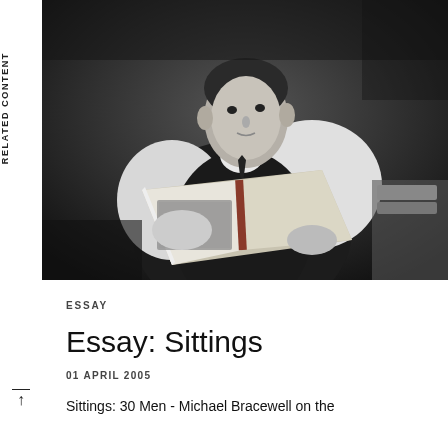RELATED CONTENT
[Figure (photo): Black and white portrait photograph of a young man seated cross-legged, holding open a large book with an illustration visible on its pages. He wears a dark vest over a white shirt with a dark tie. A table with books is visible in the background to the right.]
ESSAY
Essay: Sittings
01 APRIL 2005
Sittings: 30 Men - Michael Bracewell on the